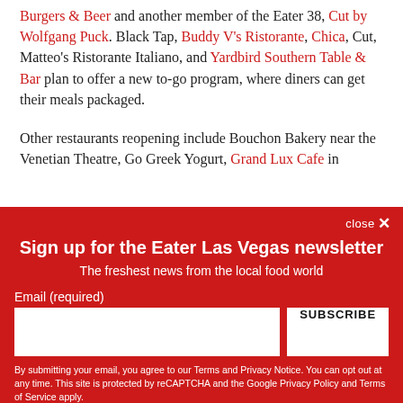Burgers & Beer and another member of the Eater 38, Cut by Wolfgang Puck. Black Tap, Buddy V's Ristorante, Chica, Cut, Matteo's Ristorante Italiano, and Yardbird Southern Table & Bar plan to offer a new to-go program, where diners can get their meals packaged.
Other restaurants reopening include Bouchon Bakery near the Venetian Theatre, Go Greek Yogurt, Grand Lux Cafe in
[Figure (screenshot): Newsletter signup overlay on red background. Title: Sign up for the Eater Las Vegas newsletter. Subtitle: The freshest news from the local food world. Email input field and SUBSCRIBE button. Disclaimer text about Terms and Privacy Notice.]